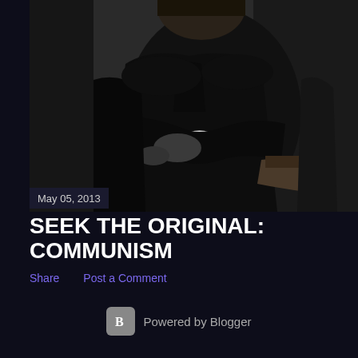[Figure (photo): Black and white historical photograph of a man in a dark suit sitting in a chair with arms crossed, torso and lower body visible, dark background]
May 05, 2013
SEEK THE ORIGINAL: COMMUNISM
Share    Post a Comment
Powered by Blogger